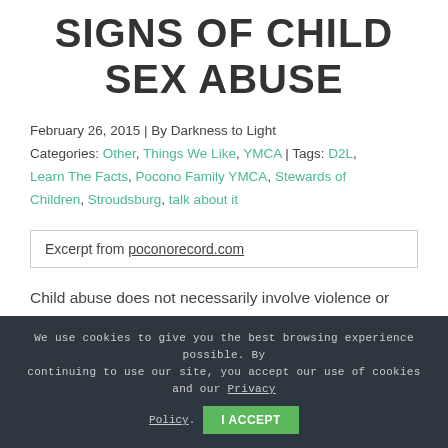SIGNS OF CHILD SEX ABUSE
February 26, 2015 | By Darkness to Light
Categories: Other, Things We Like, YMCA | Tags: D2L, Learn The Facts, Pocono Family YMCA, Stewards of Children, Stroudsburg, talk about it
Excerpt from poconorecord.com
Child abuse does not necessarily involve violence or anger. Abuse often involves adults using their power over children as objects for their own gratification.
We use cookies to give you the best browsing experience possible. By continuing to use our site, you accept our use of cookies and our Privacy Policy. I ACCEPT